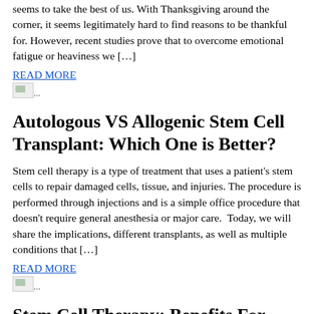seems to take the best of us. With Thanksgiving around the corner, it seems legitimately hard to find reasons to be thankful for. However, recent studies prove that to overcome emotional fatigue or heaviness we […]
READ MORE
[Figure (other): Broken image placeholder with ellipsis]
Autologous VS Allogenic Stem Cell Transplant: Which One is Better?
Stem cell therapy is a type of treatment that uses a patient's stem cells to repair damaged cells, tissue, and injuries. The procedure is performed through injections and is a simple office procedure that doesn't require general anesthesia or major care.  Today, we will share the implications, different transplants, as well as multiple conditions that […]
READ MORE
[Figure (other): Broken image placeholder with ellipsis]
Stem Cell Therapy: Benefits For Athletes